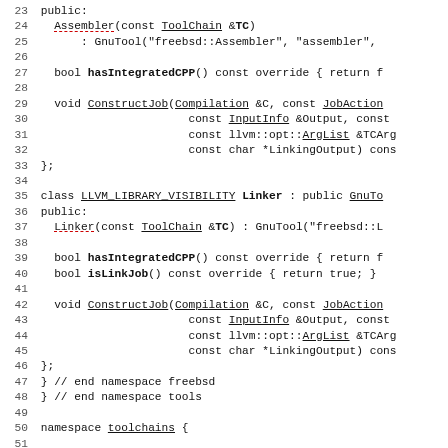Source code listing lines 23-52 from a C++ header file showing Assembler and Linker class definitions in the freebsd namespace, and a toolchains namespace declaration.